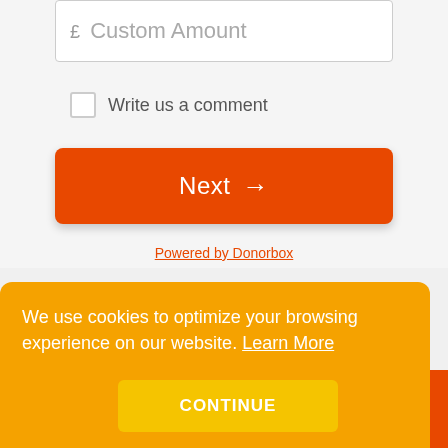£ Custom Amount
Write us a comment
Next →
Powered by Donorbox
We use cookies to optimize your browsing experience on our website. Learn More
CONTINUE